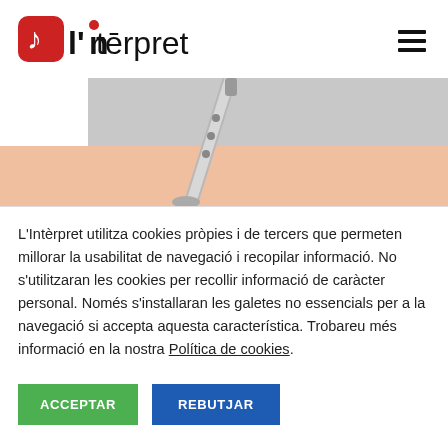[Figure (logo): l'Intèrpret logo with red rounded square containing a music note icon, and black text 'l'intèrpret']
[Figure (illustration): Partial image of a clarinet against a gray and peach/salmon background]
L'Intèrpret utilitza cookies pròpies i de tercers que permeten millorar la usabilitat de navegació i recopilar informació. No s'utilitzaran les cookies per recollir informació de caràcter personal. Només s'installaran les galetes no essencials per a la navegació si accepta aquesta característica. Trobareu més informació en la nostra Política de cookies.
ACCEPTAR
REBUTJAR